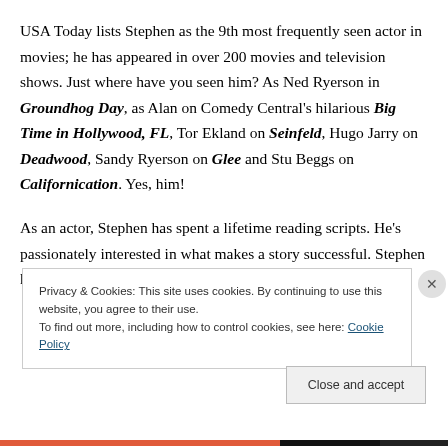USA Today lists Stephen as the 9th most frequently seen actor in movies; he has appeared in over 200 movies and television shows. Just where have you seen him? As Ned Ryerson in Groundhog Day, as Alan on Comedy Central's hilarious Big Time in Hollywood, FL, Tor Ekland on Seinfeld, Hugo Jarry on Deadwood, Sandy Ryerson on Glee and Stu Beggs on Californication. Yes, him!
As an actor, Stephen has spent a lifetime reading scripts. He's passionately interested in what makes a story successful. Stephen has become a respected
Privacy & Cookies: This site uses cookies. By continuing to use this website, you agree to their use.
To find out more, including how to control cookies, see here: Cookie Policy
Close and accept